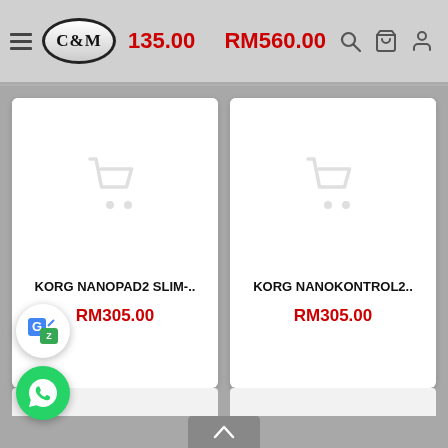C&M  RM135.00  RM560.00
[Figure (screenshot): Product card: KORG NANOPAD2 SLIM-.. with shopping cart placeholder icon and Google Translate overlay bubble, price RM305.00]
[Figure (screenshot): Product card: KORG NANOKONTROL2.. with shopping cart placeholder icon, price RM305.00]
KORG NANOPAD2 SLIM-..
RM305.00
KORG NANOKONTROL2..
RM305.00